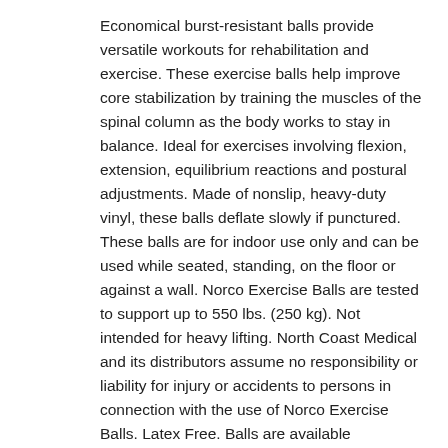Economical burst-resistant balls provide versatile workouts for rehabilitation and exercise. These exercise balls help improve core stabilization by training the muscles of the spinal column as the body works to stay in balance. Ideal for exercises involving flexion, extension, equilibrium reactions and postural adjustments. Made of nonslip, heavy-duty vinyl, these balls deflate slowly if punctured. These balls are for indoor use only and can be used while seated, standing, on the floor or against a wall. Norco Exercise Balls are tested to support up to 550 lbs. (250 kg). Not intended for heavy lifting. North Coast Medical and its distributors assume no responsibility or liability for injury or accidents to persons in connection with the use of Norco Exercise Balls. Latex Free. Balls are available individually in retail packaging box with handle. Each Norco Exercise Ball, ball w/ plug, plug remover, pump, measuring tape, exercise poster and nozzle adapter. For sizing, see chart under Sizing tab.
Brand: Norco
Product ID: NC50103